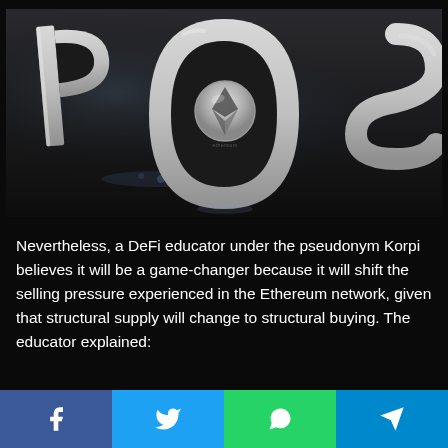[Figure (photo): Dark metallic surface with large silver letters P, O, S arranged left to right. In the center of the O is an Ethereum coin (silver, with the Ethereum diamond logo and 'ethereum' text). The scene is dramatically lit on a dark background.]
Nevertheless, a DeFi educator under the pseudonym Korpi believes it will be a game-changer because it will shift the selling pressure experienced in the Ethereum network, given that structural supply will change to structural buying. The educator explained:
[Figure (infographic): Social sharing bar with four buttons: Facebook (blue), Twitter (light blue), WhatsApp (green), Telegram (teal/blue)]